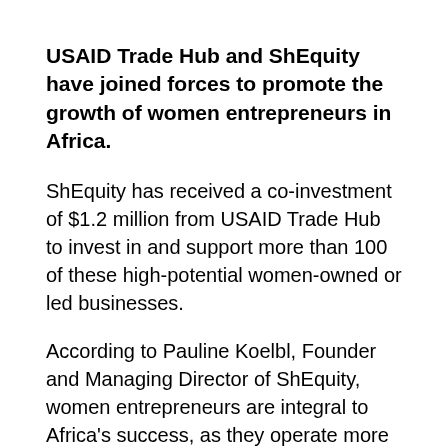USAID Trade Hub and ShEquity have joined forces to promote the growth of women entrepreneurs in Africa.
ShEquity has received a co-investment of $1.2 million from USAID Trade Hub to invest in and support more than 100 of these high-potential women-owned or led businesses.
According to Pauline Koelbl, Founder and Managing Director of ShEquity, women entrepreneurs are integral to Africa's success, as they operate more than 40 percent of small and medium-sized businesses on the continent. However, African women entrepreneurs face the hurdle of